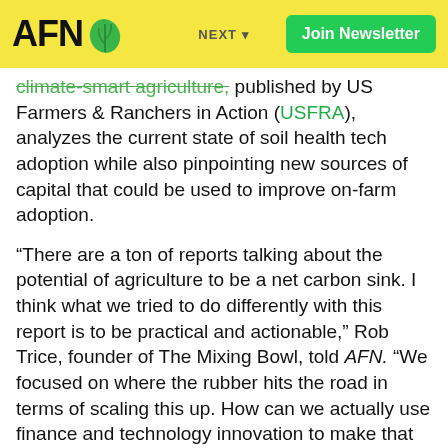AFN | NEXT | Join Newsletter
climate-smart agriculture, published by US Farmers & Ranchers in Action (USFRA), analyzes the current state of soil health tech adoption while also pinpointing new sources of capital that could be used to improve on-farm adoption.
“There are a ton of reports talking about the potential of agriculture to be a net carbon sink. I think what we tried to do differently with this report is to be practical and actionable,” Rob Trice, founder of The Mixing Bowl, told AFN. “We focused on where the rubber hits the road in terms of scaling this up. How can we actually use finance and technology innovation to make that leap?”
Also participating in the report’s preparation are